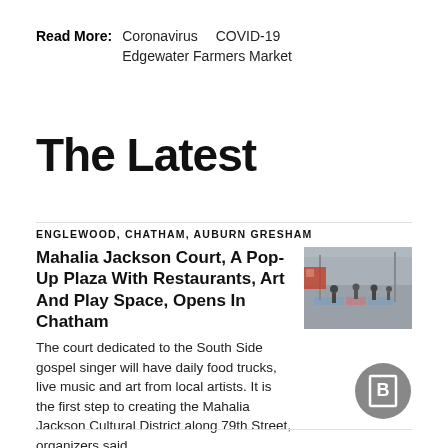Read More: Coronavirus  COVID-19  Edgewater Farmers Market
The Latest
ENGLEWOOD, CHATHAM, AUBURN GRESHAM
Mahalia Jackson Court, A Pop-Up Plaza With Restaurants, Art And Play Space, Opens In Chatham
The court dedicated to the South Side gospel singer will have daily food trucks, live music and art from local artists. It is the first step to creating the Mahalia Jackson Cultural District along 79th Street, organizers said.
Atavia Reed
[Figure (photo): Street scene with people on a road with colored markings, appears to be a pop-up plaza or street event]